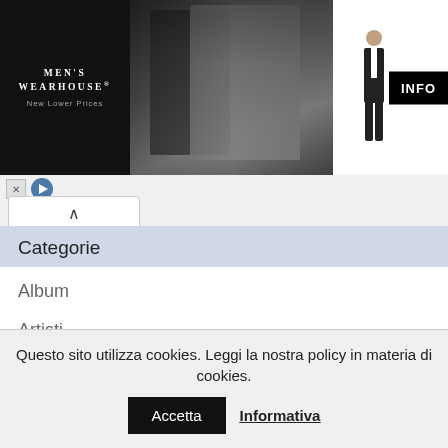[Figure (photo): Men's Wearhouse advertisement banner with couple in formal wear and a suited man figure with INFO button]
Categorie
Album
Artisti
Biografie
Canzoni
Concerti
News
Traduzioni
Questo sito utilizza cookies. Leggi la nostra policy in materia di cookies. Accetta  Informativa